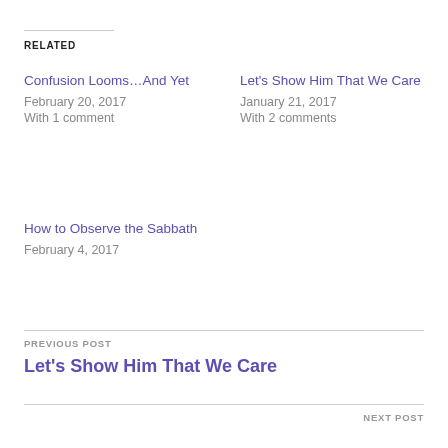RELATED
Confusion Looms…And Yet
February 20, 2017
With 1 comment
Let's Show Him That We Care
January 21, 2017
With 2 comments
How to Observe the Sabbath
February 4, 2017
PREVIOUS POST
Let's Show Him That We Care
NEXT POST